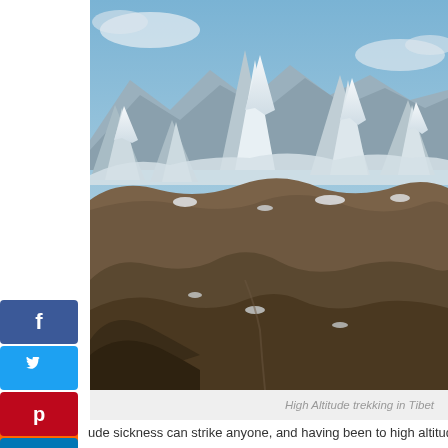[Figure (photo): Mountain landscape with snow-capped peaks and brown rolling hills in Tibet, taken from high altitude. Clear blue sky with some clouds visible at top.]
High Altitude trekking in Tibet
ude sickness can strike anyone, and having been to high altitudes be-